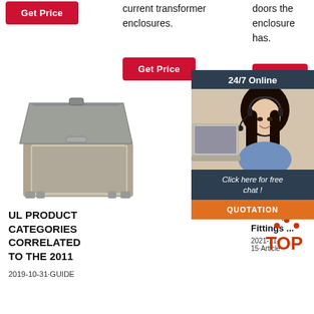[Figure (other): Red 'Get Price' button in left column]
current transformer enclosures.
doors the enclosure has.
[Figure (other): Red 'Get Price' button in middle column]
[Figure (other): Red 'Get Price' button in right column]
[Figure (photo): Photo of an open enclosure box, beige/grey plastic]
[Figure (infographic): 24/7 online chat widget with woman wearing headset, 'Click here for free chat!' text, and QUOTATION button in orange]
UL PRODUCT CATEGORIES CORRELATED TO THE 2011
2019-10-31u2002·u2002GUIDE
Artic... Boxes, Conduit Bodies, and Fittings ...
2021-11-15u2002·u2002Article